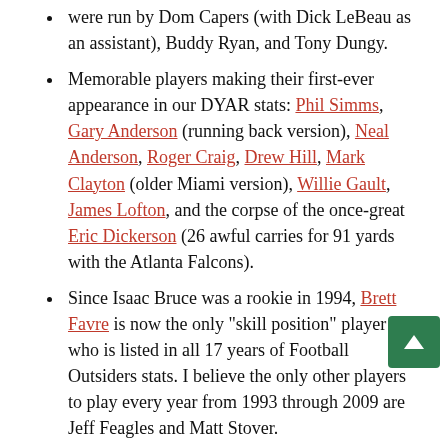were run by Dom Capers (with Dick LeBeau as an assistant), Buddy Ryan, and Tony Dungy.
Memorable players making their first-ever appearance in our DYAR stats: Phil Simms, Gary Anderson (running back version), Neal Anderson, Roger Craig, Drew Hill, Mark Clayton (older Miami version), Willie Gault, James Lofton, and the corpse of the once-great Eric Dickerson (26 awful carries for 91 yards with the Atlanta Falcons).
Since Isaac Bruce was a rookie in 1994, Brett Favre is now the only "skill position" player who is listed in all 17 years of Football Outsiders stats. I believe the only other players to play every year from 1993 through 2009 are Jeff Feagles and Matt Stover.
We've made a number of other updates to our database today, along with posting the standard stats pages for 1993. Most relevant for "skill...